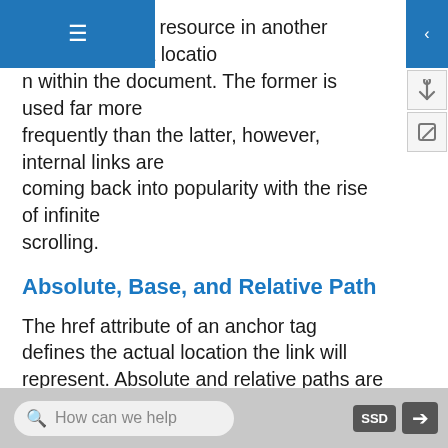o a resource in another location, or to a location within the document. The former is used far more frequently than the latter, however, internal links are coming back into popularity with the rise of infinite scrolling.
Absolute, Base, and Relative Path
The href attribute of an anchor tag defines the actual location the link will represent. Absolute and relative paths are two reference methods for connecting sites and pages. While both methods can be used when creating links that point to content in our own site, only absolute can be used when pointing to content that is outside of your domain.
Absolute paths are the entire location of the link
How can we help